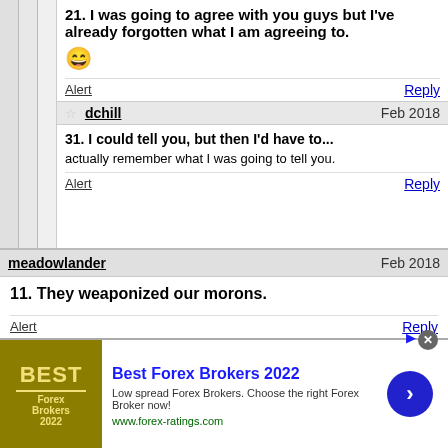21. I was going to agree with you guys but I've already forgotten what I am agreeing to.
[Figure (illustration): Grinning smiley face emoji]
Alert
Reply
dchill  Feb 2018
31. I could tell you, but then I'd have to...
actually remember what I was going to tell you.
Alert
Reply
meadowlander  Feb 2018
11. They weaponized our morons.
Alert
Reply
Poiuyt  Feb 2018
19. That brings forth an interesting image in my head
Best Forex Brokers 2022
Low spread Forex Brokers. Choose the right Forex Broker now!
www.forex-ratings.com